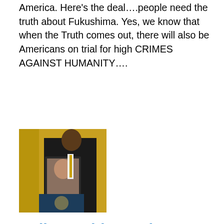America. Here's the deal….people need the truth about Fukushima. Yes, we know that when the Truth comes out, there will also be Americans on trial for high CRIMES AGAINST HUMANITY….
[Figure (photo): A man in a dark suit standing at a lectern with a Presidential seal, holding a framed photo of a woman, with an American flag and golden curtains in the background.]
Hello World! Nearly 40,000 blog direct views 1st year: ASK ABOUT FUKUSHIMA NOW….. WE did it! WE